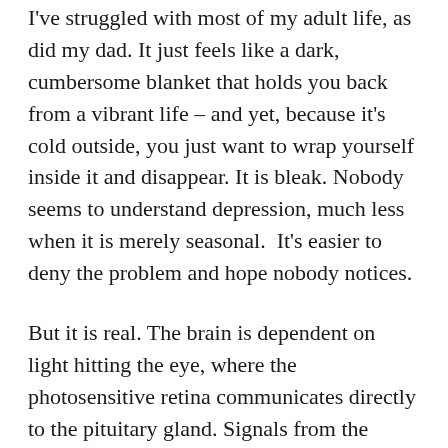I've struggled with most of my adult life, as did my dad. It just feels like a dark, cumbersome blanket that holds you back from a vibrant life – and yet, because it's cold outside, you just want to wrap yourself inside it and disappear. It is bleak. Nobody seems to understand depression, much less when it is merely seasonal.  It's easier to deny the problem and hope nobody notices.
But it is real. The brain is dependent on light hitting the eye, where the photosensitive retina communicates directly to the pituitary gland. Signals from the pituitary are sent to other glands and cascade through the body to regulate mood, digestion, sleep and memory. When the days are short and dark, there just